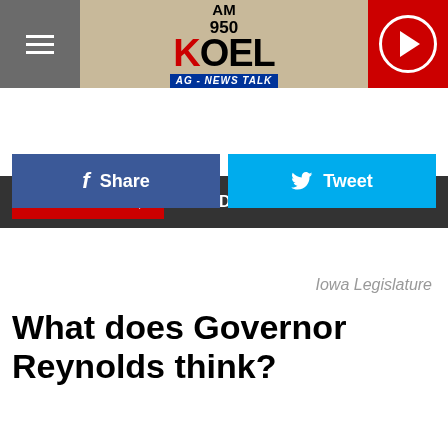[Figure (logo): AM 950 KOEL AG-News Talk radio station logo with hamburger menu icon on left and play button on right]
LISTEN NOW ▶  THE DAN BONGINO SHOW
Share
Tweet
Iowa Legislature
What does Governor Reynolds think?